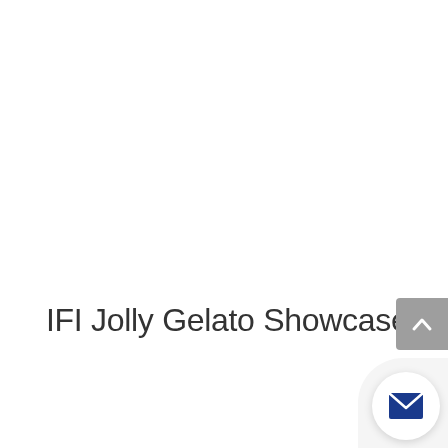IFI Jolly Gelato Showcase
[Figure (illustration): Scroll-to-top button: grey rounded rectangle in upper-right corner with a white upward chevron arrow]
[Figure (illustration): Email contact button: circular white button in bottom-right corner containing a dark blue envelope/mail icon]